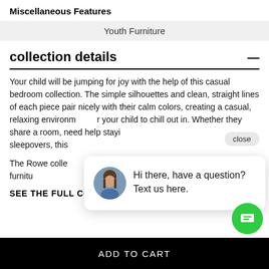Miscellaneous Features
Youth Furniture
collection details
Your child will be jumping for joy with the help of this casual bedroom collection. The simple silhouettes and clean, straight lines of each piece pair nicely with their calm colors, creating a casual, relaxing environment for your child to chill out in. Whether they share a room, need help staying organized, or are hosting sleepovers, this collection has them covered.

The Rowe collection is a stylish and affordable option for Casual furniture.
SEE THE FULL COLLECTION
ADD TO CART